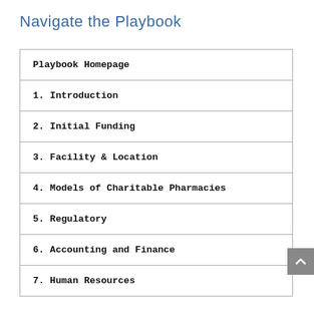Navigate the Playbook
| Playbook Homepage |
| 1. Introduction |
| 2. Initial Funding |
| 3. Facility & Location |
| 4. Models of Charitable Pharmacies |
| 5. Regulatory |
| 6. Accounting and Finance |
| 7. Human Resources |